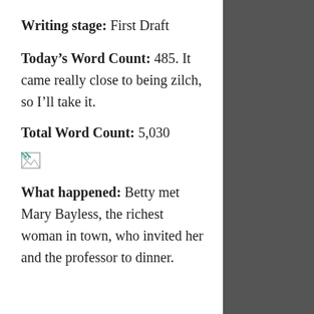Writing stage: First Draft
Today's Word Count: 485. It came really close to being zilch, so I'll take it.
Total Word Count: 5,030
[Figure (other): Broken image placeholder icon]
What happened: Betty met Mary Bayless, the richest woman in town, who invited her and the professor to dinner.